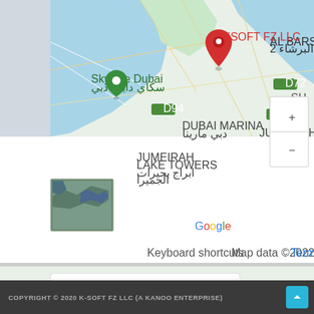[Figure (map): Two Google Maps screenshots stacked vertically. Top map shows Dubai Marina area with a red pin labeled 'KSOFT FZ LLC'. Shows Skydive Dubai with green pin, Dubai Marina, Jumeirah Lake Towers, road labels D94, D72, D61. Zoom controls on right. Map data ©2022. Bottom map shows Bahrain area with a red pin labeled 'YBA Kanoo Tower'. Shows Ebrahim K. Kanoo BSC (c) - Corporate Office, Harbour Towers West, Al Fateh Grand Mosque, Arad area, road 21, Juffair. An overlay popup shows 'YBA Kanoo Tower' and 'View larger map' link. Zoom controls on right. Map data ©2022. Both maps show satellite thumbnail in lower-left corner.]
COPYRIGHT © 2020 K-SOFT FZ LLC (A KANOO ENTERPRISE)